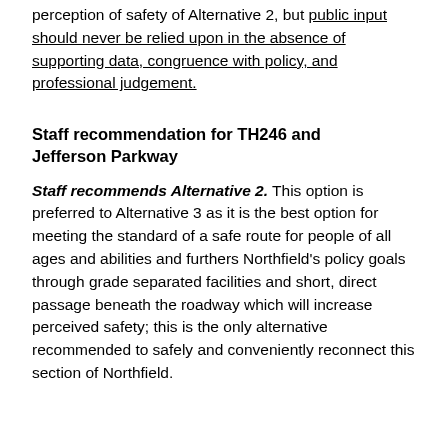perception of safety of Alternative 2, but public input should never be relied upon in the absence of supporting data, congruence with policy, and professional judgement.
Staff recommendation for TH246 and Jefferson Parkway
Staff recommends Alternative 2. This option is preferred to Alternative 3 as it is the best option for meeting the standard of a safe route for people of all ages and abilities and furthers Northfield's policy goals through grade separated facilities and short, direct passage beneath the roadway which will increase perceived safety; this is the only alternative recommended to safely and conveniently reconnect this section of Northfield.